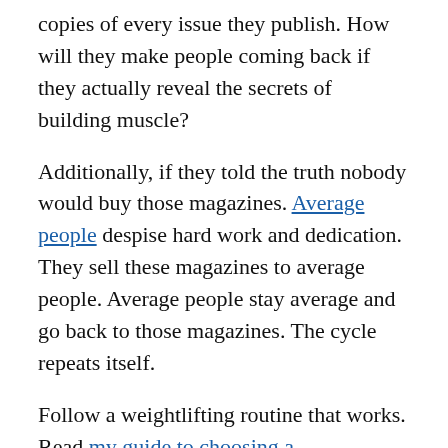copies of every issue they publish. How will they make people coming back if they actually reveal the secrets of building muscle?
Additionally, if they told the truth nobody would buy those magazines. Average people despise hard work and dedication. They sell these magazines to average people. Average people stay average and go back to those magazines. The cycle repeats itself.
Follow a weightlifting routine that works. Read my guide to choosing a bodybuilding workout plan for beginners.
18. You are a nihilist